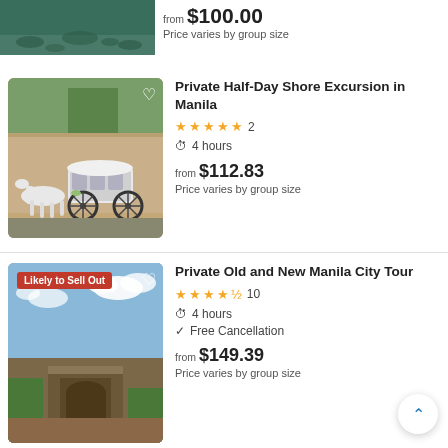[Figure (photo): Top image showing a pond with lily pads, partially visible at top of page]
from $100.00
Price varies by group size
[Figure (photo): Photo of a white horse-drawn calesa carriage in front of an old stone wall in Manila]
Private Half-Day Shore Excursion in Manila
★★★★★ 2
⏱ 4 hours
from $112.83
Price varies by group size
[Figure (photo): Photo of Fort Santiago gate in Manila, tagged as Likely to Sell Out]
Private Old and New Manila City Tour
★★★★½ 10
⏱ 4 hours
✓ Free Cancellation
from $149.39
Price varies by group size